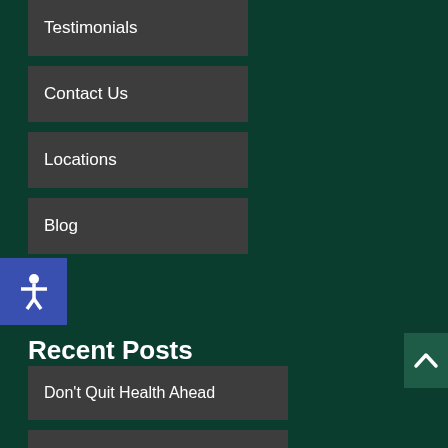Testimonials
Contact Us
Locations
Blog
Recent Posts
Don't Quit Health Ahead
21st Century Neck Pain
Achieve the Infinite